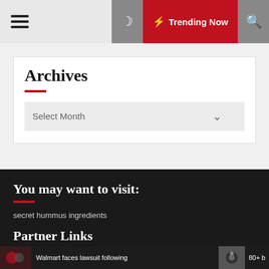☰ ☽ ⚡ Trending Now 🔍
Archives
Select Month
You may want to visit:
secret hummus ingredients
Partner Links
Walmart faces lawsuit following
80+ b